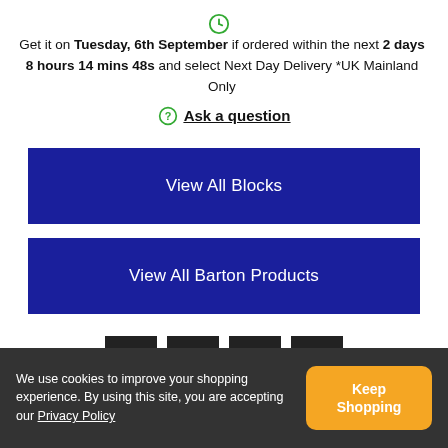Get it on Tuesday, 6th September if ordered within the next 2 days 8 hours 14 mins 48s and select Next Day Delivery *UK Mainland Only
Ask a question
View All Blocks
View All Barton Products
[Figure (other): Four social share buttons: Facebook (f), Twitter (bird), Email (envelope), More (+)]
We use cookies to improve your shopping experience. By using this site, you are accepting our Privacy Policy
Keep Shopping